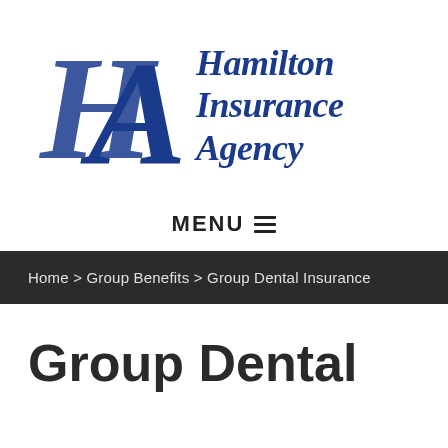[Figure (logo): Hamilton Insurance Agency logo with stylized HA monogram in blue and company name in blue italic serif text]
MENU ☰
Home > Group Benefits > Group Dental Insurance
Group Dental